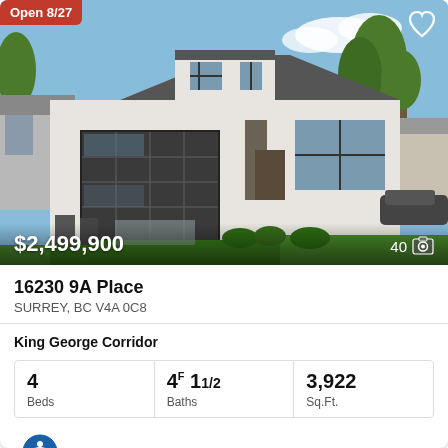[Figure (photo): Exterior photo of a modern two-story white house with dark-frame windows, large glass garage door, stone accent column, landscaped front yard with lawn and hedges. Open house badge top-left, heart/favorite icon top-right, price $2,499,900 and photo count 40 overlaid at bottom.]
16230 9A Place
SURREY, BC V4A 0C8
King George Corridor
| Beds | Baths | Sq.Ft. |
| --- | --- | --- |
| 4 | 4F 11/2 | 3,922 |
Macdonald Realty (Surrey/152)